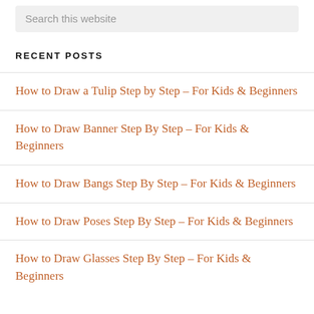Search this website
RECENT POSTS
How to Draw a Tulip Step by Step – For Kids & Beginners
How to Draw Banner Step By Step – For Kids & Beginners
How to Draw Bangs Step By Step – For Kids & Beginners
How to Draw Poses Step By Step – For Kids & Beginners
How to Draw Glasses Step By Step – For Kids & Beginners